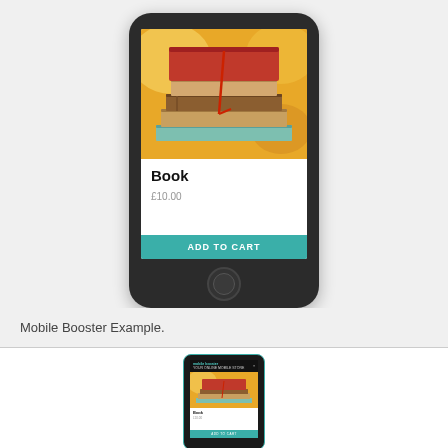[Figure (screenshot): Screenshot of a mobile phone (iPhone-style) showing a product page for 'Book' priced at £10.00 with an 'ADD TO CART' button in teal, and a stack of books photo at the top of the screen.]
Mobile Booster Example.
[Figure (screenshot): Smaller thumbnail screenshot of the same mobile phone product page showing Mobile Booster interface with the book product listing.]